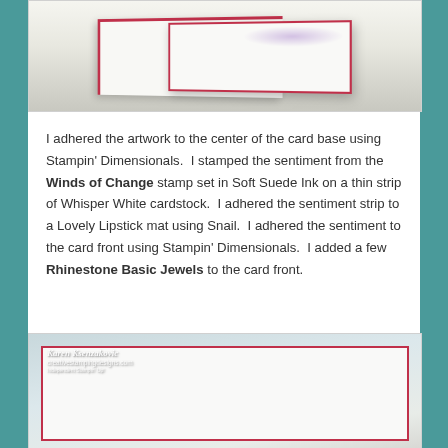[Figure (photo): A greeting card displayed as a tent card, showing the front and back. The card has a red/burgundy border and colorful paint splatter design on white cardstock.]
I adhered the artwork to the center of the card base using Stampin' Dimensionals.  I stamped the sentiment from the Winds of Change stamp set in Soft Suede Ink on a thin strip of Whisper White cardstock.  I adhered the sentiment strip to a Lovely Lipstick mat using Snail.  I adhered the sentiment to the card front using Stampin' Dimensionals.  I added a few Rhinestone Basic Jewels to the card front.
[Figure (photo): Interior of a greeting card open flat, showing the inside with a red/burgundy border mat on white cardstock. A watermark reads 'Karen Ksenzakovic' and 'creativestampingdesigns.com' with 'Indpendent Stampin Up' underneath. A faint stamped image is visible in the lower right.]